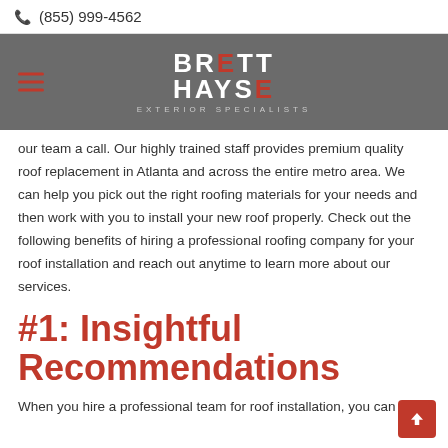(855) 999-4562
[Figure (logo): Brett Hayse Exterior Specialists logo in white text on gray background with hamburger menu icon on left]
our team a call. Our highly trained staff provides premium quality roof replacement in Atlanta and across the entire metro area. We can help you pick out the right roofing materials for your needs and then work with you to install your new roof properly. Check out the following benefits of hiring a professional roofing company for your roof installation and reach out anytime to learn more about our services.
#1: Insightful Recommendations
When you hire a professional team for roof installation, you can